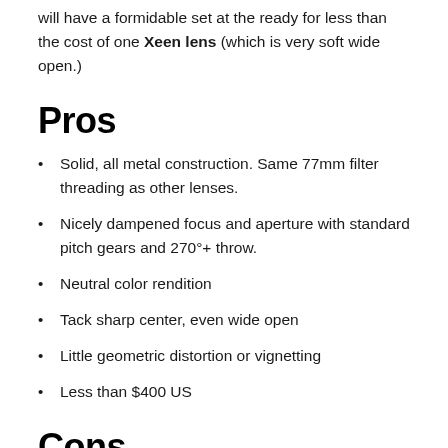will have a formidable set at the ready for less than the cost of one Xeen lens (which is very soft wide open.)
Pros
Solid, all metal construction. Same 77mm filter threading as other lenses.
Nicely dampened focus and aperture with standard pitch gears and 270°+ throw.
Neutral color rendition
Tack sharp center, even wide open
Little geometric distortion or vignetting
Less than $400 US
Cons
A few millimeters shorter than 25 and 16